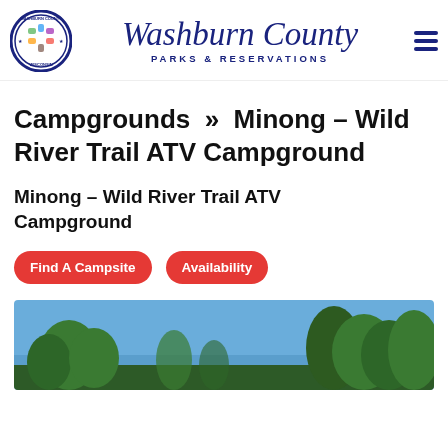[Figure (logo): Washburn County Wisconsin circular seal/logo with animals and nature icons]
Washburn County Parks & Reservations
Campgrounds >> Minong – Wild River Trail ATV Campground
Minong – Wild River Trail ATV Campground
Find A Campsite
Availability
[Figure (photo): Outdoor photo of trees against a blue sky, campground area]